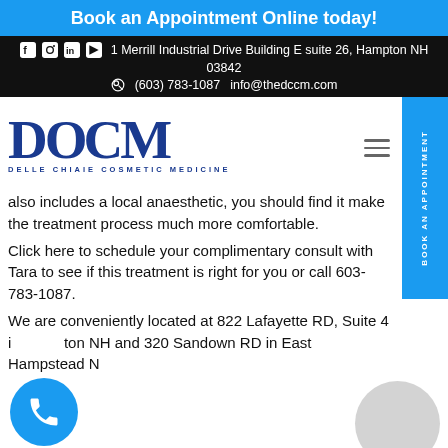Book an Appointment Online today!
1 Merrill Industrial Drive Building E suite 26, Hampton NH 03842  (603) 783-1087  info@thedccm.com
[Figure (logo): DCCM - Delle Chiaie Cosmetic Medicine logo in blue]
also includes a local anaesthetic, you should find it make the treatment process much more comfortable.
Click here to schedule your complimentary consult with Tara to see if this treatment is right for you or call 603-783-1087.
We are conveniently located at 822 Lafayette RD, Suite 4 in Hampton NH and 320 Sandown RD in East Hampstead NH